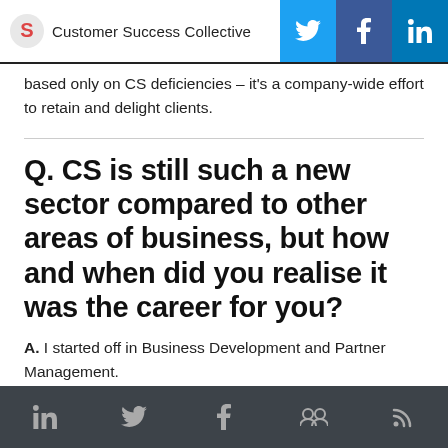Customer Success Collective
based only on CS deficiencies – it's a company-wide effort to retain and delight clients.
Q. CS is still such a new sector compared to other areas of business, but how and when did you realise it was the career for you?
A. I started off in Business Development and Partner Management.
Social icons: LinkedIn, Twitter, Facebook, Community, RSS